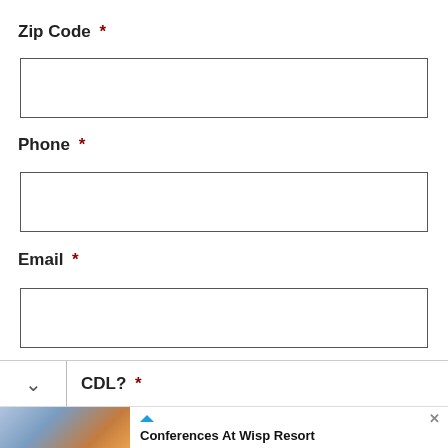Zip Code *
[Figure (other): Empty text input field for Zip Code]
Phone *
[Figure (other): Empty text input field for Phone]
Email *
[Figure (other): Empty text input field for Email]
CDL? *
[Figure (screenshot): Advertisement banner for Conferences At Wisp Resort. Image of group of skiers on left, text 'Conferences At Wisp Resort - Let Us Exceed Expectations w/ Our Luxury Lodging, Award-Winning Catering & Year-Round Fun.' with Open button and Wisp Resort logo.]